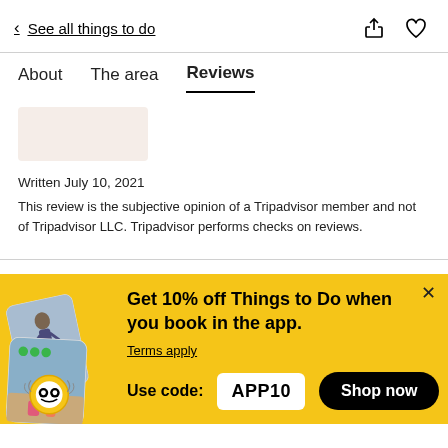< See all things to do
About  The area  Reviews
[Figure (photo): Partial view of a review card or image placeholder (pink/beige rectangle)]
Written July 10, 2021
This review is the subjective opinion of a Tripadvisor member and not of Tripadvisor LLC. Tripadvisor performs checks on reviews.
[Figure (infographic): Promotional banner with yellow background showing app mockup images and Tripadvisor badge. Text: Get 10% off Things to Do when you book in the app. Terms apply. Use code: APP10. Shop now button.]